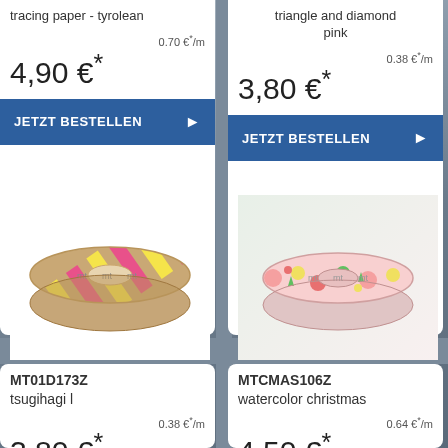tracing paper - tyrolean
0.70 €*/m
4,90 €*
JETZT BESTELLEN ▶
triangle and diamond pink
0.38 €*/m
3,80 €*
JETZT BESTELLEN ▶
[Figure (illustration): Roll of washi tape with diagonal pink and yellow stripes, labeled mt]
[Figure (illustration): Roll of washi tape with watercolor christmas pattern including stars, fruits and circles, labeled mt]
MT01D173Z
tsugihagi l
0.38 €*/m
3,80 €*
MTCMAS106Z
watercolor christmas
0.64 €*/m
4,50 €*